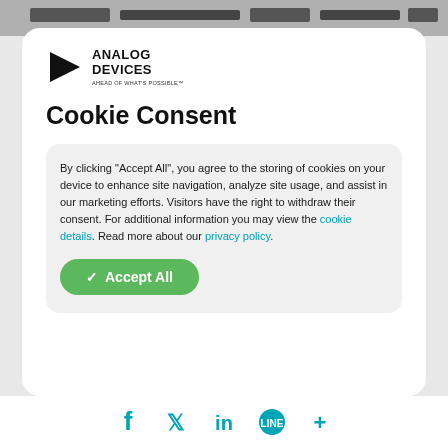[Figure (screenshot): Top strip showing a blurred website header/navigation bar]
[Figure (logo): Analog Devices logo — triangle play-button icon with 'ANALOG DEVICES' text and 'AHEAD OF WHAT'S POSSIBLE' tagline]
Cookie Consent
By clicking “Accept All”, you agree to the storing of cookies on your device to enhance site navigation, analyze site usage, and assist in our marketing efforts. Visitors have the right to withdraw their consent. For additional information you may view the cookie details. Read more about our privacy policy.
[Figure (screenshot): Green 'Accept All' button with checkmark]
Social media icons: Facebook, Twitter, LinkedIn, LINE, More